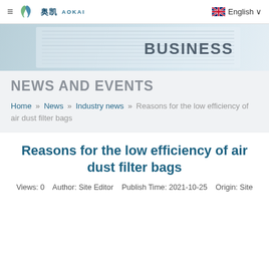≡  奥凯 AOKAI    English ∨
[Figure (photo): Hero banner showing stacked business papers/files with the word BUSINESS visible, in blue-grey tones]
NEWS AND EVENTS
Home » News » Industry news » Reasons for the low efficiency of air dust filter bags
Reasons for the low efficiency of air dust filter bags
Views: 0    Author: Site Editor    Publish Time: 2021-10-25    Origin: Site